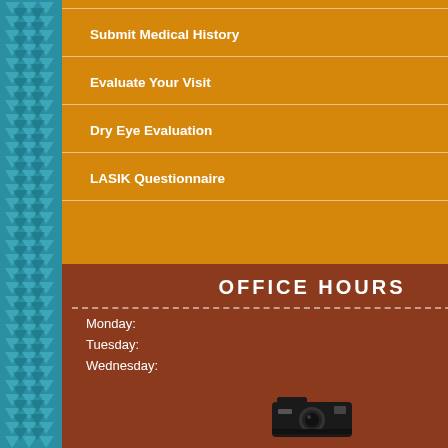Submit Medical History
Evaluate Your Visit
Dry Eye Evaluation
LASIK Questionnaire
OFFICE HOURS
| Day | Hours |
| --- | --- |
| Monday: | Closed |
| Tuesday: | 9:00 - 5:30 |
| Wednesday: | 9:00 - 5:30 |
| Thursday: | 9:00 - 5:30 |
| Friday: | 9:00 - 5:30 |
| Saturday: | 9:00 - 2:00 |
advancement. If you need glasses, here is welcome news. KODAK Unique development for smooth, comfortable...
Sharp, clear vision wherever you look—up close to miles away. This remarkable "progressive" lenses enables you to see clear and sharp, for objects up-close, far away and in between.
Read between the lines. These new lenses are the best alternative to bifocals which have distracting, unattractive lines that advertise your age. KODAK Unique Lenses provide smooth, uninterrupted vision w...
Superb optical quality is ensured. Using "intelligent" computer processing, the quality of your KODAK Unique...
Front and back surfaces wor... Both lens surfaces work in harm...
Your frame selection and KO... There's one more aspect of this... using advanced computer mod...
Feel good, look good. KODAK Unique Lenses are available... and your eyecare professional... wear—and great looks.